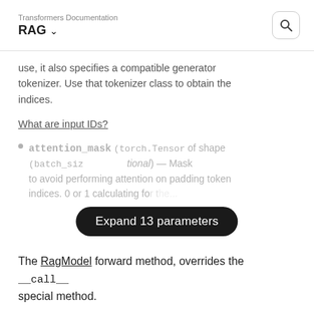Transformers Documentation
RAG
use, it also specifies a compatible generator tokenizer. Use that tokenizer class to obtain the indices.
What are input IDs?
attention_mask (torch.Tensor of shape (batch_size, …optional) — Mask to avoid performing attention on padding token indices. 0 or 1 calculating for...
[Figure (other): Tooltip button overlay reading 'Expand 13 parameters']
The RagModel forward method, overrides the __call__ special method.
Although the recipe for forward pass needs to be